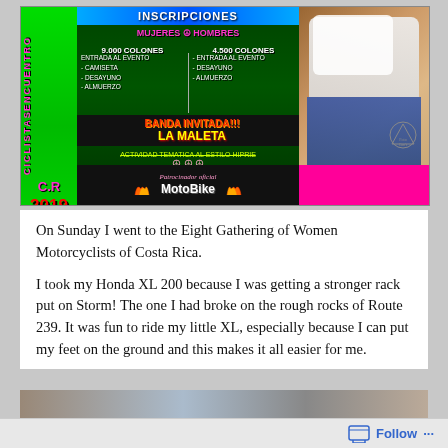[Figure (illustration): Event flyer for the Eight Gathering of Women Motorcyclists of Costa Rica 2019. Green and pink background with text in Spanish: INSCRIPCIONES, MUJERES 9.000 COLONES (includes entrada al evento, camiseta, desayuno, almuerzo), HOMBRES 4.500 COLONES (includes entrada al evento, desayuno, almuerzo). BANDA INVITADA!!! LA MALETA. ACTIVIDAD TEMATICA AL ESTILO HIPIE. Patrocinador oficial: MotoBike with flame graphics. Right side shows a woman in white t-shirt with motorcycle. Left side reads ENCUENTRO DE CICLISTAS C.R. 2019 vertically.]
On Sunday I went to the Eight Gathering of Women Motorcyclists of Costa Rica.
I took my Honda XL 200 because I was getting a stronger rack put on Storm! The one I had broke on the rough rocks of Route 239. It was fun to ride my little XL, especially because I can put my feet on the ground and this makes it all easier for me.
[Figure (photo): Partial view of a photo at the bottom of the page, partially cut off.]
Follow ...